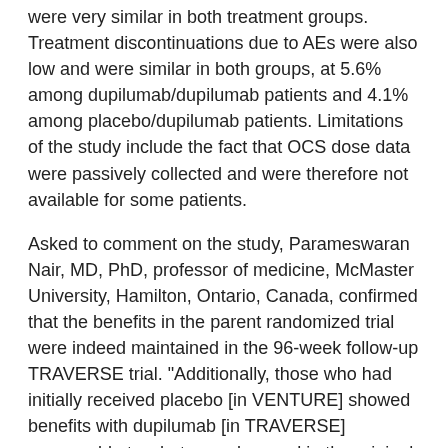were very similar in both treatment groups. Treatment discontinuations due to AEs were also low and were similar in both groups, at 5.6% among dupilumab/dupilumab patients and 4.1% among placebo/dupilumab patients. Limitations of the study include the fact that OCS dose data were passively collected and were therefore not available for some patients.
Asked to comment on the study, Parameswaran Nair, MD, PhD, professor of medicine, McMaster University, Hamilton, Ontario, Canada, confirmed that the benefits in the parent randomized trial were indeed maintained in the 96-week follow-up TRAVERSE trial. "Additionally, those who had initially received placebo [in VENTURE] showed benefits with dupilumab [in TRAVERSE] comparable to what was observed in the original trial," he noted in an email to Medscape Medical News. Nair cautioned that open-label studies have inherent biases, including missing data.
Parameswaran Nair...